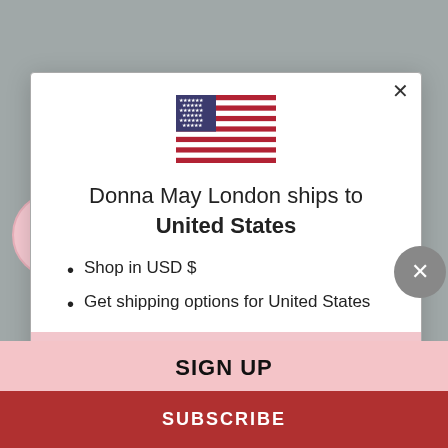[Figure (illustration): US flag emoji/icon centered in modal]
Donna May London ships to United States
Shop in USD $
Get shipping options for United States
Shop now
SIGN UP
SUBSCRIBE